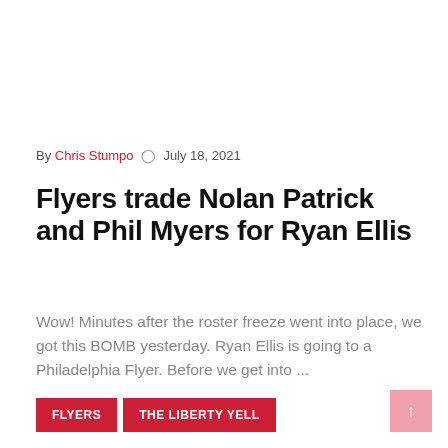By Chris Stumpo  ©  July 18, 2021
Flyers trade Nolan Patrick and Phil Myers for Ryan Ellis
Wow! Minutes after the roster freeze went into place, we got this BOMB yesterday. Ryan Ellis is going to a Philadelphia Flyer. Before we get into ...
Read More
FLYERS  THE LIBERTY YELL